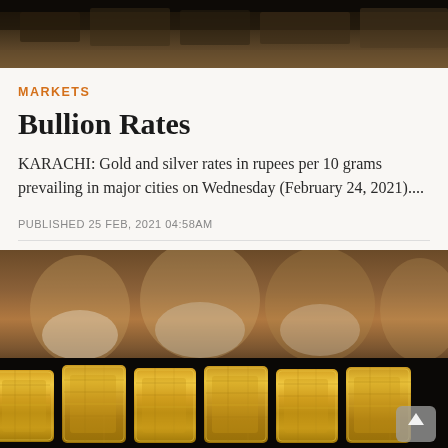[Figure (photo): A dark/blurred overhead photo of people at what appears to be a gold market or shop counter.]
MARKETS
Bullion Rates
KARACHI: Gold and silver rates in rupees per 10 grams prevailing in major cities on Wednesday (February 24, 2021)....
PUBLISHED 25 FEB, 2021 04:58AM
[Figure (photo): A photo of multiple gold bullion bars arranged on a dark surface, with blurred people in a market in the background.]